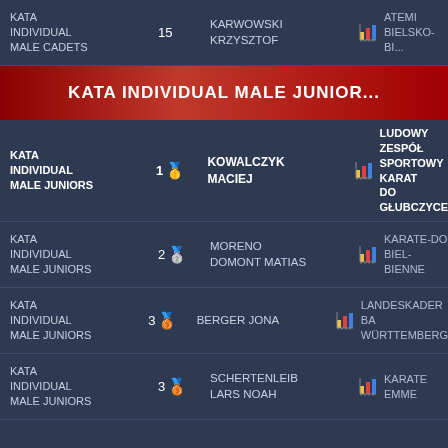| Event | Rank | Name | Club |
| --- | --- | --- | --- |
| KATA INDIVIDUAL MALE CADETS | 15 | KARWOWSKI KRZYSZTOF | ATEMI BIELSKO-BI... |
| KATA INDIVIDUAL MALE JUNIORS (header) |  |  |  |
| KATA INDIVIDUAL MALE JUNIORS | 1🥇 | KOWALCZYK MACIEJ | LUDOWY ZESPÓŁ SPORTOWY KARAT DO GŁUBCZYCE |
| KATA INDIVIDUAL MALE JUNIORS | 2🥈 | MORENO DOMONT MATIAS | KARATE-DO BIEL-BIENNE |
| KATA INDIVIDUAL MALE JUNIORS | 3🥉 | BERGER JONA | LANDESKADER BA WÜRTTEMBERG |
| KATA INDIVIDUAL MALE JUNIORS | 3🥉 | SCHERTENLEIB LARS NOAH | KARATE EMME |